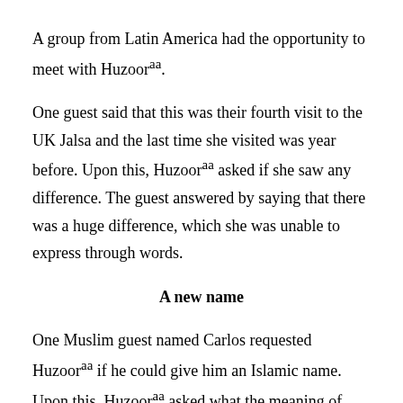A group from Latin America had the opportunity to meet with Huzoorᵃᵃ.
One guest said that this was their fourth visit to the UK Jalsa and the last time she visited was year before. Upon this, Huzoorᵃᵃ asked if she saw any difference. The guest answered by saying that there was a huge difference, which she was unable to express through words.
A new name
One Muslim guest named Carlos requested Huzoorᵃᵃ if he could give him an Islamic name. Upon this, Huzoorᵃᵃ asked what the meaning of Carlos was. Hearing this, another guest said that its equivalent in English is Charlie. Huzoorᵃᵃ then graciously named him Khalid and said, “Khalid means something which remains